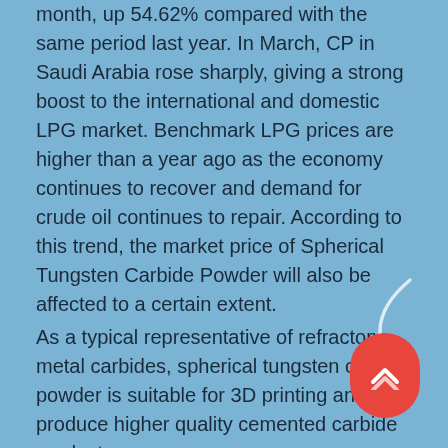month, up 54.62% compared with the same period last year. In March, CP in Saudi Arabia rose sharply, giving a strong boost to the international and domestic LPG market. Benchmark LPG prices are higher than a year ago as the economy continues to recover and demand for crude oil continues to repair. According to this trend, the market price of Spherical Tungsten Carbide Powder will also be affected to a certain extent.
As a typical representative of refractory metal carbides, spherical tungsten carbide powder is suitable for 3D printing and can produce higher quality cemented carbide products.
3D printing, also known as additive manufacturing, is the latest rapid prototyping device using technologies such as light curing and paper lamination. The biggest difference from ordinary printing is that the printing material can be liquid or solid powder. With the development of science and technology and the needs of